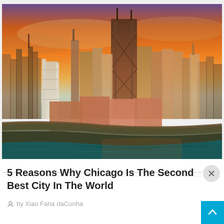[Figure (photo): Aerial photograph of Chicago skyline at sunset, showing skyscrapers including the John Hancock Center (dark tall building) against an orange sky, with Lake Michigan and a shoreline road in the foreground]
5 Reasons Why Chicago Is The Second Best City In The World
by Xiao Faria daCunha